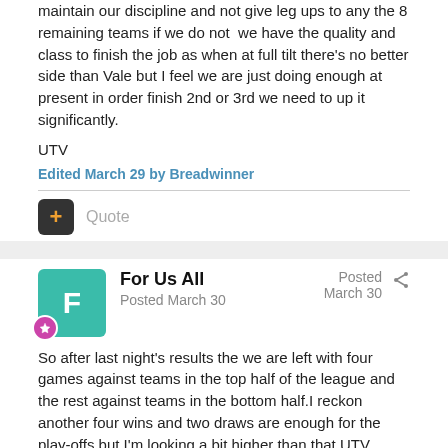maintain our discipline and not give leg ups to any the 8 remaining teams if we do not we have the quality and class to finish the job as when at full tilt there's no better side than Vale but I feel we are just doing enough at present in order finish 2nd or 3rd we need to up it significantly.
UTV
Edited March 29 by Breadwinner
+ Quote
For Us All
Posted March 30
Posted March 30
So after last night's results the we are left with four games against teams in the top half of the league and the rest against teams in the bottom half.I reckon another four wins and two draws are enough for the play-offs but I'm looking a bit higher than that.UTV